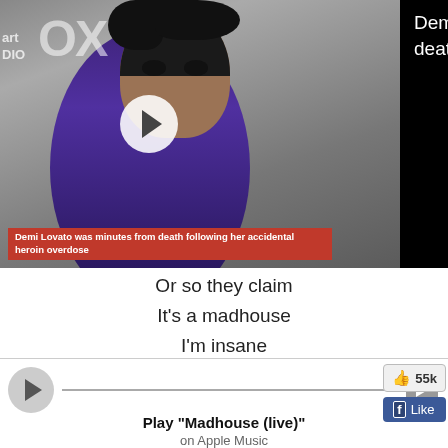[Figure (screenshot): News video thumbnail showing Demi Lovato with overlay text about heroin overdose incident, displayed as an ad/news banner overlay on a lyrics page. Right side has black background with article headline text.]
Demi Lovato was minutes from death following her accidental heroin overdose
Demi Lovato: 'I turned blue and was minutes from death after accidental heroin overdose'
Or so they claim
It's a madhouse
I'm insane
Mad, madhouse
Mad, mad, mad, madhouse
Play "Madhouse (live)"
on Apple Music
Submit lyrics correction →
55k
Like